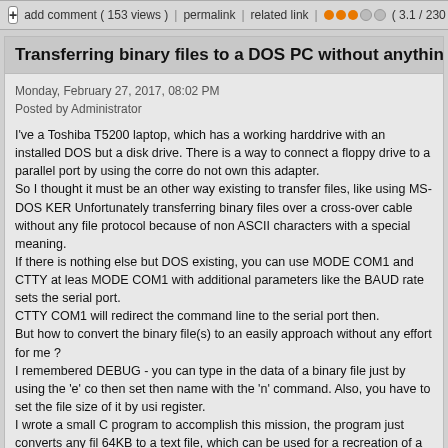add comment ( 153 views )  |  permalink  |  related link  |  ( 3.1 / 230 )
Transferring binary files to a DOS PC without anything else but DO
Monday, February 27, 2017, 08:02 PM
Posted by Administrator
I've a Toshiba T5200 laptop, which has a working harddrive with an installed DOS but a disk drive. There is a way to connect a floppy drive to a parallel port by using the corre do not own this adapter.
So I thought it must be an other way existing to transfer files, like using MS-DOS KER Unfortunately transferring binary files over a cross-over cable without any file protocol because of non ASCII characters with a special meaning.
If there is nothing else but DOS existing, you can use MODE COM1 and CTTY at leas MODE COM1 with additional parameters like the BAUD rate sets the serial port.
CTTY COM1 will redirect the command line to the serial port then.
But how to convert the binary file(s) to an easily approach without any effort for me ?
I remembered DEBUG - you can type in the data of a binary file just by using the 'e' co then set then name with the 'n' command. Also, you have to set the file size of it by usi register.
I wrote a small C program to accomplish this mission, the program just converts any fil 64KB to a text file, which can be used for a recreation of a binary file just by redirecting text file as input for the DEBUG command.
[Figure (screenshot): Terminal window showing DOS commands: C:\>DBGCONV TEST.BIN TEST.TXT and C:\>TYPE TEST.TXT with output: rcx, 0021, nTEST.BIN]